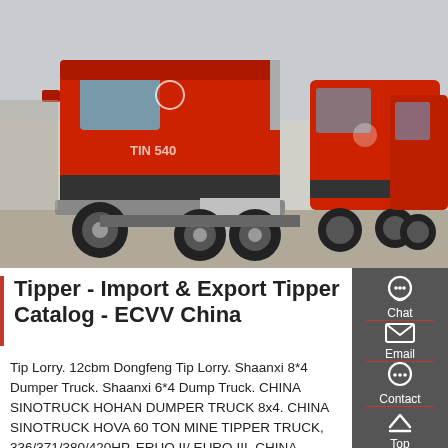[Figure (photo): Photo of red semi-trucks/tractor units parked in a lot, taken from a low angle. Several red SINOTRUK/HOWO style trucks visible.]
Tipper - Import & Export Tipper Catalog - ECVV China
Tip Lorry. 12cbm Dongfeng Tip Lorry. Shaanxi 8*4 Dumper Truck. Shaanxi 6*4 Dump Truck. CHINA SINOTRUCK HOHAN DUMPER TRUCK 8x4. CHINA SINOTRUCK HOVA 60 TON MINE TIPPER TRUCK, 336/371/380/420HP, ERUO II/ EURO III. CHINA SINOTRUCK HOWO 4X2 DUMPER TRUCK 10M3 266/290/336/371HP, EURO II.